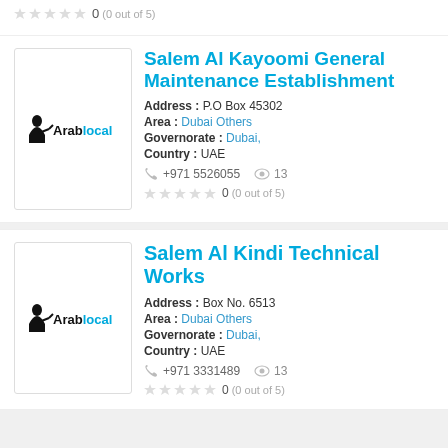0  (0 out of 5)
Salem Al Kayoomi General Maintenance Establishment
Address : P.O Box 45302
Area : Dubai Others
Governorate : Dubai,
Country : UAE
+971 5526055
13
0  (0 out of 5)
Salem Al Kindi Technical Works
Address : Box No. 6513
Area : Dubai Others
Governorate : Dubai,
Country : UAE
+971 3331489
13
0  (0 out of 5)